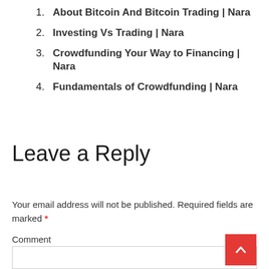1. About Bitcoin And Bitcoin Trading | Nara
2. Investing Vs Trading | Nara
3. Crowdfunding Your Way to Financing | Nara
4. Fundamentals of Crowdfunding | Nara
Leave a Reply
Your email address will not be published. Required fields are marked *
Comment